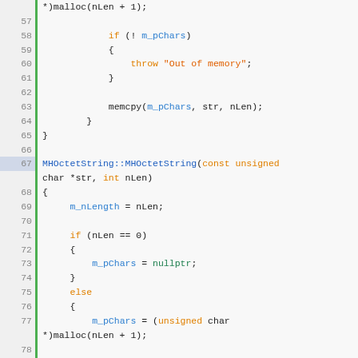[Figure (screenshot): C++ source code editor view showing lines 57–88 with syntax highlighting. Line numbers in left gutter with green vertical bar. Code shows MHOctetString constructor implementations with malloc, memcpy, nullptr, throw statements.]